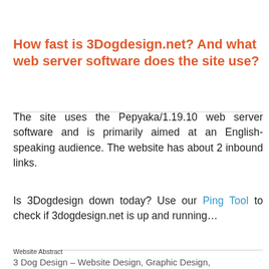How fast is 3Dogdesign.net? And what web server software does the site use?
The site uses the Pepyaka/1.19.10 web server software and is primarily aimed at an English-speaking audience. The website has about 2 inbound links.
Is 3Dogdesign down today? Use our Ping Tool to check if 3dogdesign.net is up and running...
Website Abstract
3 Dog Design – Website Design, Graphic Design,